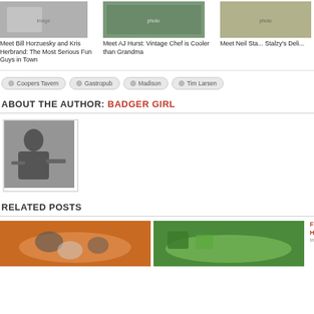[Figure (photo): Thumbnail image of quilted fabric texture]
Meet Bill Horzuesky and Kris Herbrand: The Most Serious Fun Guys in Town
[Figure (photo): Thumbnail image of food dish]
Meet AJ Hurst: Vintage Chef is Cooler than Grandma
[Figure (photo): Thumbnail image of grains or seeds]
Meet Neil Sta... Stalzy's Deli...
Coopers Tavern
Gastropub
Madison
Tim Larsen
ABOUT THE AUTHOR: BADGER GIRL
[Figure (photo): Black and white photo of a woman cooking in a kitchen]
RELATED POSTS
[Figure (photo): Photo of a pizza with vegetables]
[Figure (photo): Photo of pasta with broccoli and vegetables]
Fitc... Hei... In Lo...